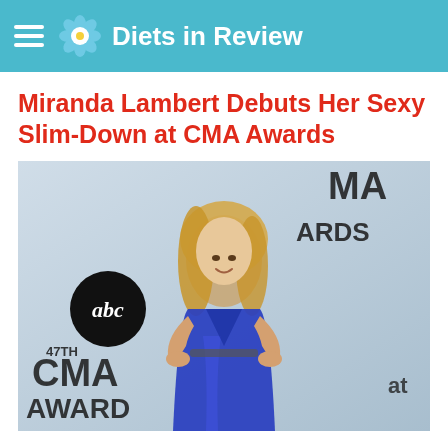Diets in Review
Miranda Lambert Debuts Her Sexy Slim-Down at CMA Awards
[Figure (photo): Miranda Lambert posing on the CMA Awards red carpet wearing a royal blue sequined halter gown, with abc and 47TH CMA AWARDS signage visible in the background]